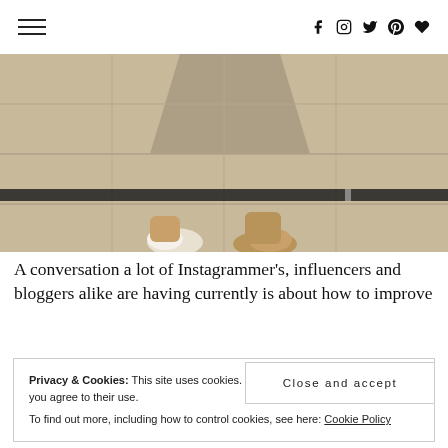[hamburger menu] [social icons: facebook, instagram, twitter, pinterest, heart]
[Figure (photo): Top-down view of person's feet wearing tan/beige pointed-toe boots standing on tiled floor near a glass door or table edge; soft shadow visible on light stone-colored tile.]
A conversation a lot of Instagrammer's, influencers and bloggers alike are having currently is about how to improve role with it and try and work with it, rather than opposed to
Privacy & Cookies: This site uses cookies. By continuing to use this website, you agree to their use.
To find out more, including how to control cookies, see here: Cookie Policy
Close and accept